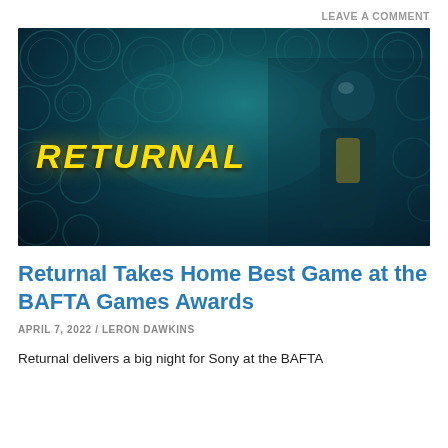LEAVE A COMMENT
[Figure (photo): Promotional image for the video game Returnal showing a female astronaut in a teal and yellow spacesuit holding a weapon, standing against a dark alien background with circular mechanical patterns. The word RETURNAL appears in large yellow italic letters on the left.]
Returnal Takes Home Best Game at the BAFTA Games Awards
APRIL 7, 2022 / LERON DAWKINS
Returnal delivers a big night for Sony at the BAFTA